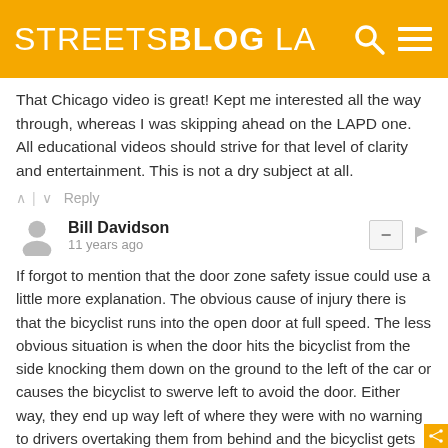STREETSBLOG LA
That Chicago video is great! Kept me interested all the way through, whereas I was skipping ahead on the LAPD one. All educational videos should strive for that level of clarity and entertainment. This is not a dry subject at all.
Bill Davidson
11 years ago
If forgot to mention that the door zone safety issue could use a little more explanation. The obvious cause of injury there is that the bicyclist runs into the open door at full speed. The less obvious situation is when the door hits the bicyclist from the side knocking them down on the ground to the left of the car or causes the bicyclist to swerve left to avoid the door. Either way, they end up way left of where they were with no warning to drivers overtaking them from behind and the bicyclist gets run over. Some mention of that should probably be made, just so that officers understand the seriousness of "dooring".